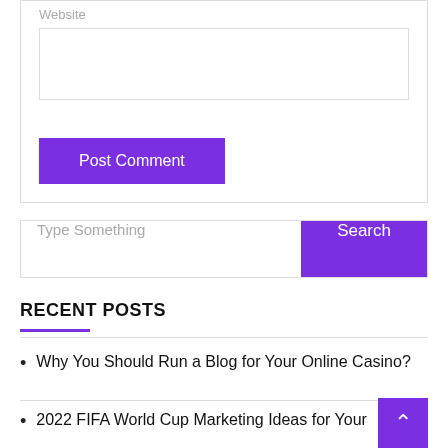Website
Post Comment
Type Something
Search
RECENT POSTS
Why You Should Run a Blog for Your Online Casino?
2022 FIFA World Cup Marketing Ideas for Your